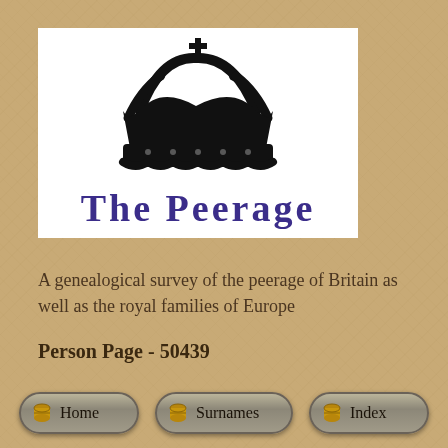[Figure (logo): The Peerage logo with a black crown above the text 'THE PEERAGE' in bold purple serif font on a white background]
A genealogical survey of the peerage of Britain as well as the royal families of Europe
Person Page - 50439
[Figure (other): Navigation buttons: Home, Surnames, Index — styled as rounded grey pill buttons with small golden barrel/scroll icons]
Home  Surnames  Index